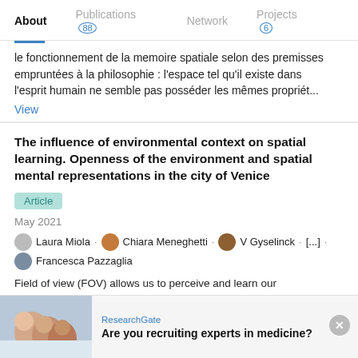About | Publications 88 | Network | Projects 6
le fonctionnement de la memoire spatiale selon des premisses empruntées à la philosophie : l'espace tel qu'il existe dans l'esprit humain ne semble pas posséder les mêmes propriét...
View
The influence of environmental context on spatial learning. Openness of the environment and spatial mental representations in the city of Venice
Article
May 2021
Laura Miola . Chiara Meneghetti . V Gyselinck . [...] . Francesca Pazzaglia
Field of view (FOV) allows us to perceive and learn our environment. Reducing the visual field impairs our ability to
ResearchGate
Are you recruiting experts in medicine?